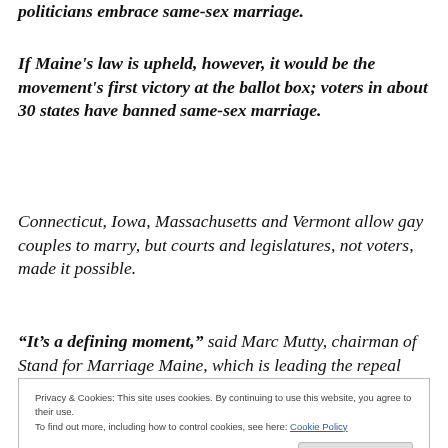politicians embrace same-sex marriage.
If Maine's law is upheld, however, it would be the movement's first victory at the ballot box; voters in about 30 states have banned same-sex marriage.
Connecticut, Iowa, Massachusetts and Vermont allow gay couples to marry, but courts and legislatures, not voters, made it possible.
“It’s a defining moment,” said Marc Mutty, chairman of Stand for Marriage Maine, which is leading the repeal
Privacy & Cookies: This site uses cookies. By continuing to use this website, you agree to their use.
To find out more, including how to control cookies, see here: Cookie Policy
Close and accept